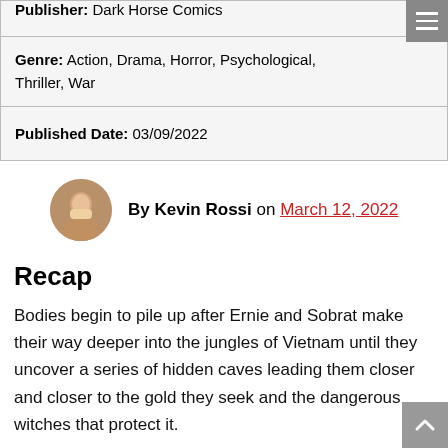| Publisher: Dark Horse Comics |
| Genre: Action, Drama, Horror, Psychological, Thriller, War |
| Published Date: 03/09/2022 |
By Kevin Rossi on March 12, 2022
Recap
Bodies begin to pile up after Ernie and Sobrat make their way deeper into the jungles of Vietnam until they uncover a series of hidden caves leading them closer and closer to the gold they seek and the dangerous witches that protect it.